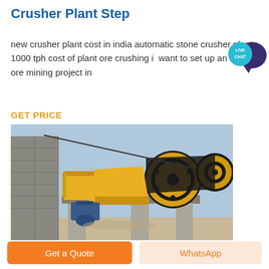Crusher Plant Step
new crusher plant cost in india automatic stone crusher plant 1000 tph cost of plant ore crushing if want to set up an iron ore mining project in
GET PRICE
[Figure (photo): Yellow jaw crusher machine mounted on concrete supports next to a stone/rock wall, with blue sky in background.]
Get a Quote
WhatsApp